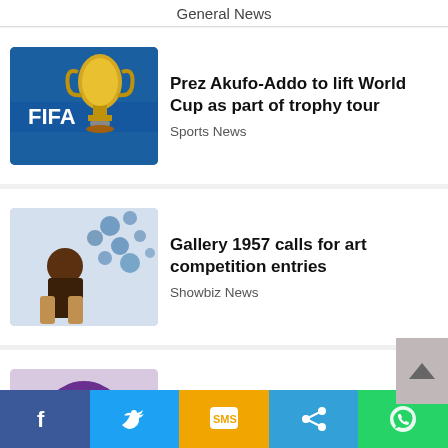General News
Prez Akufo-Addo to lift World Cup as part of trophy tour — Sports News
Gallery 1957 calls for art competition entries — Showbiz News
Akosua Ofori-Mensah is GIBF Personality of the Year — Showbiz News
Atwima Nwabiagya South constituents chase out MP — (partial)